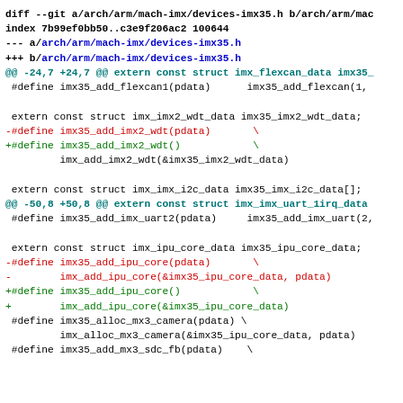diff --git a/arch/arm/mach-imx/devices-imx35.h b/arch/arm/mac
index 7b99ef0bb50..c3e9f206ac2 100644
--- a/arch/arm/mach-imx/devices-imx35.h
+++ b/arch/arm/mach-imx/devices-imx35.h
@@ -24,7 +24,7 @@ extern const struct imx_flexcan_data imx35_
 #define imx35_add_flexcan1(pdata)      imx35_add_flexcan(1,

 extern const struct imx_imx2_wdt_data imx35_imx2_wdt_data;
-#define imx35_add_imx2_wdt(pdata)       \
+#define imx35_add_imx2_wdt()            \
         imx_add_imx2_wdt(&imx35_imx2_wdt_data)

 extern const struct imx_imx_i2c_data imx35_imx_i2c_data[];
@@ -50,8 +50,8 @@ extern const struct imx_imx_uart_1irq_data
 #define imx35_add_imx_uart2(pdata)     imx35_add_imx_uart(2,

 extern const struct imx_ipu_core_data imx35_ipu_core_data;
-#define imx35_add_ipu_core(pdata)       \
-        imx_add_ipu_core(&imx35_ipu_core_data, pdata)
+#define imx35_add_ipu_core()            \
+        imx_add_ipu_core(&imx35_ipu_core_data)
 #define imx35_alloc_mx3_camera(pdata) \
         imx_alloc_mx3_camera(&imx35_ipu_core_data, pdata)
 #define imx35_add_mx3_sdc_fb(pdata)    \